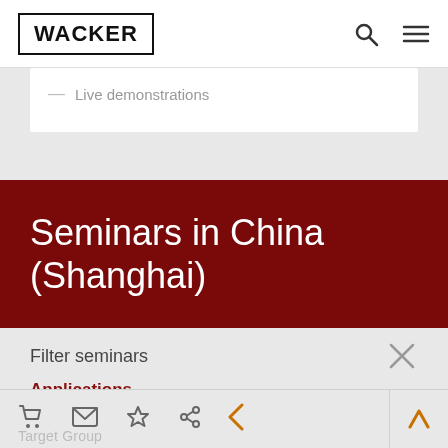WACKER
Live demonstrations
Seminars in China (Shanghai)
Filter seminars
Applications
Choose